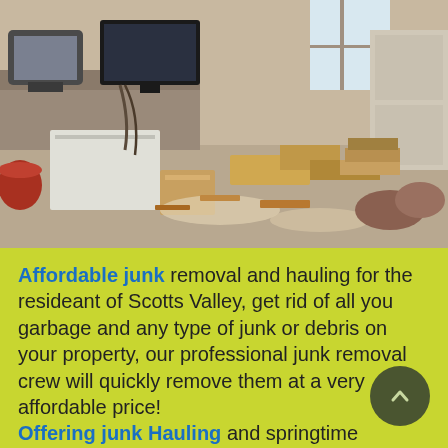[Figure (photo): A cluttered, messy room filled with junk, old electronics including CRT monitors and a flat screen TV, cardboard boxes, scattered papers, canned goods, books, bags, and various debris piled on the floor.]
Affordable junk removal and hauling for the resideant of Scotts Valley, get rid of all you garbage and any type of junk or debris on your property, our professional junk removal crew will quickly remove them at a very affordable price! Offering junk Hauling and springtime cleaning services for residential and